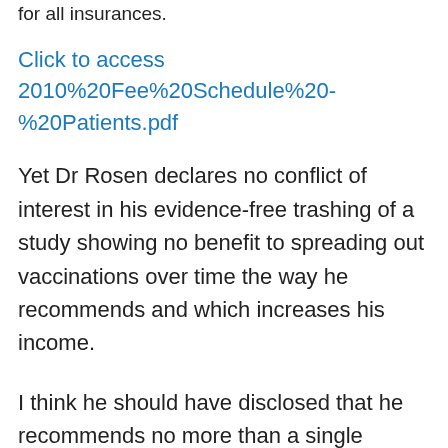for all insurances.
Click to access 2010%20Fee%20Schedule%20-%20Patients.pdf
Yet Dr Rosen declares no conflict of interest in his evidence-free trashing of a study showing no benefit to spreading out vaccinations over time the way he recommends and which increases his income.
I think he should have disclosed that he recommends no more than a single vaccination per office visit and that his recommended schedule results in greater office visit fees than does the standard vaccination schedule being tested.
It was the ideal way to protect his income if he...